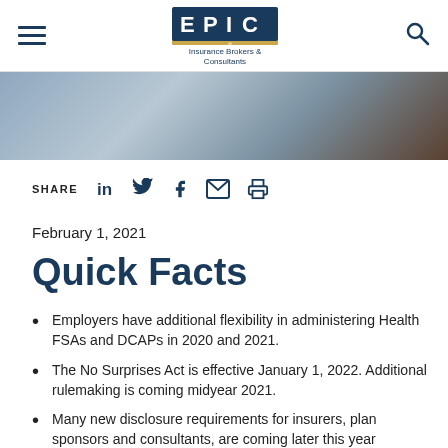[Figure (logo): EPIC Insurance Brokers & Consultants logo in navy blue and gold]
[Figure (photo): Hero background image showing a person in business attire, partially visible]
SHARE
February 1, 2021
Quick Facts
Employers have additional flexibility in administering Health FSAs and DCAPs in 2020 and 2021.
The No Surprises Act is effective January 1, 2022. Additional rulemaking is coming midyear 2021.
Many new disclosure requirements for insurers, plan sponsors and consultants, are coming later this year